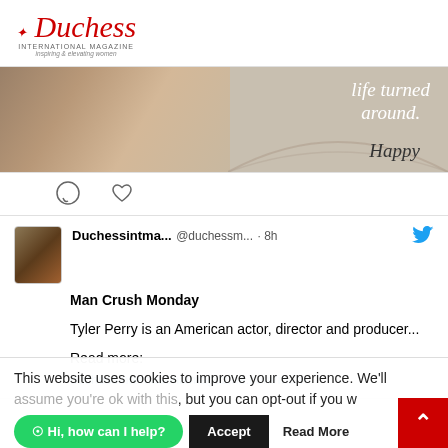Duchess INTERNATIONAL MAGAZINE inspiring & elevating women
[Figure (photo): Partial view of a woman with decorative elements and text overlay reading 'life turned around.' and 'Happy']
Man Crush Monday

Tyler Perry is an American actor, director and producer...

Read more:
duchessinternationalmagazine.com/man-
This website uses cookies to improve your experience. We'll assume you're ok with this, but you can opt-out if you w
Hi, how can I help?
Accept
Read More